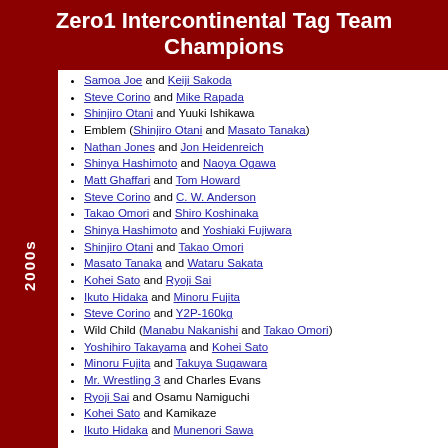Zero1 Intercontinental Tag Team Champions
Samoa Joe and Keiji Sakoda
Steve Corino and Mike Rapada
Shinjiro Otani and Yuuki Ishikawa
Emblem (Shinjiro Otani and Masato Tanaka)
Nathan Jones and Jon Heidenreich
Shinya Hashimoto and Naoya Ogawa
Matt Ghaffari and Tom Howard
Steve Corino and C. W. Anderson
Takao Omori and Shiro Koshinaka
Shinya Hashimoto and Yoshiaki Fujiwara
Shinjiro Otani and Takao Omori
Masato Tanaka and Wataru Sakata
Kohei Sato and Ryoji Sai
Ikuto Hidaka and Minoru Fujita
Steve Corino and Y2P-160kg
Wild Child (Manabu Nakanishi and Takao Omori)
Yoshihiro Takayama and Kohei Sato
Minoru Fujita and Takuya Sugawara
Mr. Wrestling 3 and Charles Evans
Ryoji Sai and Osamu Namiguchi
Kohei Sato and Kamikaze
Ikuto Hidaka and Munenori Sawa